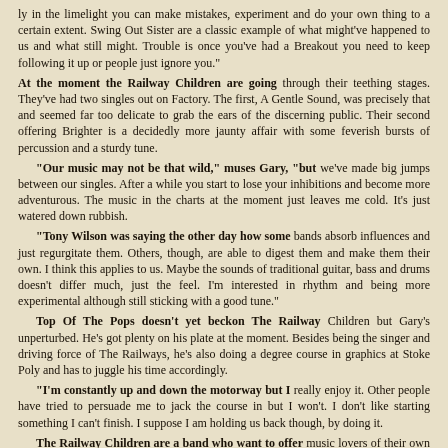ly in the limelight you can make mistakes, experiment and do your own thing to a certain extent. Swing Out Sister are a classic example of what might've happened to us and what still might. Trouble is once you've had a Breakout you need to keep following it up or people just ignore you."
At the moment the Railway Children are going through their teething stages. They've had two singles out on Factory. The first, A Gentle Sound, was precisely that and seemed far too delicate to grab the ears of the discerning public. Their second offering Brighter is a decidedly more jaunty affair with some feverish bursts of percussion and a sturdy tune.
"Our music may not be that wild," muses Gary, "but we've made big jumps between our singles. After a while you start to lose your inhibitions and become more adventurous. The music in the charts at the moment just leaves me cold. It's just watered down rubbish.
"Tony Wilson was saying the other day how some bands absorb influences and just regurgitate them. Others, though, are able to digest them and make them their own. I think this applies to us. Maybe the sounds of traditional guitar, bass and drums doesn't differ much, just the feel. I'm interested in rhythm and being more experimental although still sticking with a good tune."
Top Of The Pops doesn't yet beckon The Railway Children but Gary's unperturbed. He's got plenty on his plate at the moment. Besides being the singer and driving force of The Railways, he's also doing a degree course in graphics at Stoke Poly and has to juggle his time accordingly.
"I'm constantly up and down the motorway but I really enjoy it. Other people have tried to persuade me to jack the course in but I won't. I don't like starting something I can't finish. I suppose I am holding us back though, by doing it.
The Railway Children are a band who want to offer music lovers of their own age something to fall in love with. They chose their name because it was "cute and meaningless" and they (supposedly)